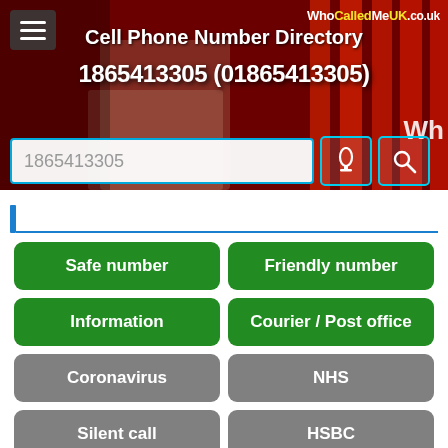[Figure (screenshot): Website banner for WhoCalledMeUK.co.uk showing a woman on phone against red phone box background, with site logo, title, phone number, and search bar.]
Cell Phone Number Directory
1865413305 (01865413305)
Safe number
Friendly number
Information
Courier / Post office
Coronavirus
NHS
Silent call
HSBC
Missed call
Text Message